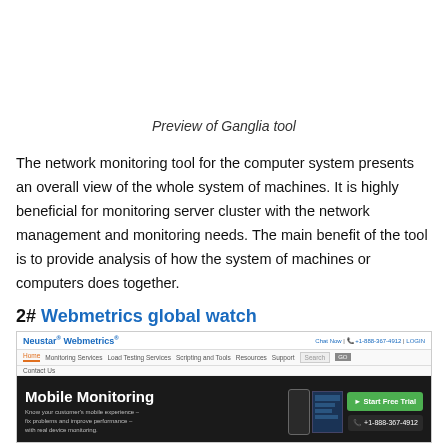Preview of Ganglia  tool
The network monitoring tool for the computer system presents an overall view of the whole system of machines. It is highly beneficial for monitoring server cluster with the network management and monitoring needs. The main benefit of the tool is to provide analysis of how the system of machines or computers does together.
2# Webmetrics global watch
[Figure (screenshot): Screenshot of Neustar Webmetrics website showing navigation bar and Mobile Monitoring banner with Start Free Trial button and phone number +1-888-367-4912]